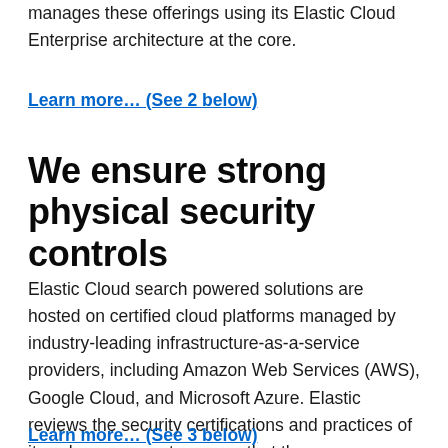manages these offerings using its Elastic Cloud Enterprise architecture at the core.
Learn more… (See 2 below)
We ensure strong physical security controls
Elastic Cloud search powered solutions are hosted on certified cloud platforms managed by industry-leading infrastructure-as-a-service providers, including Amazon Web Services (AWS), Google Cloud, and Microsoft Azure. Elastic reviews the security certifications and practices of its subprocessors to ensure that there are appropriate physical security measures in force at all premises at which Elastic Cloud data will be processed and stored.
Learn more… (See 3 below)